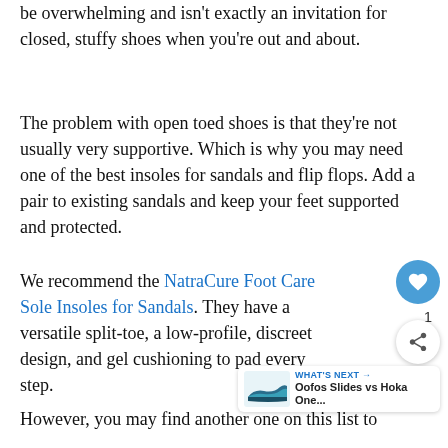be overwhelming and isn't exactly an invitation for closed, stuffy shoes when you're out and about.
The problem with open toed shoes is that they're not usually very supportive. Which is why you may need one of the best insoles for sandals and flip flops. Add a pair to existing sandals and keep your feet supported and protected.
We recommend the NatraCure Foot Care Sole Insoles for Sandals. They have a versatile split-toe, a low-profile, discreet design, and gel cushioning to pad every step.
However, you may find another one on this list to